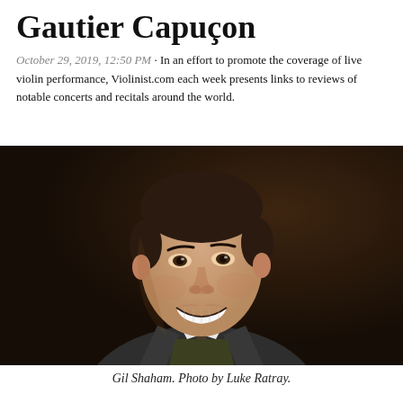Gautier Capuçon
October 29, 2019, 12:50 PM · In an effort to promote the coverage of live violin performance, Violinist.com each week presents links to reviews of notable concerts and recitals around the world.
[Figure (photo): Portrait photo of Gil Shaham, a man in a dark suit jacket and patterned tie, smiling, against a dark brown background.]
Gil Shaham. Photo by Luke Ratray.